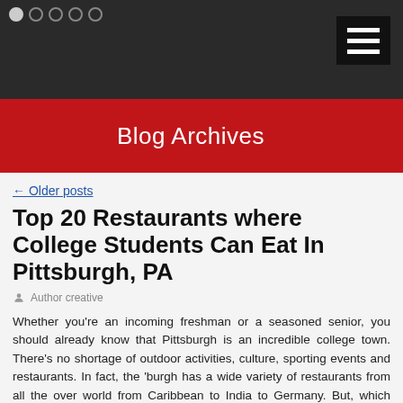[Figure (screenshot): Blog website header with dark wood-texture background, navigation dots top-left, hamburger menu top-right, red banner reading Blog Archives]
← Older posts
Top 20 Restaurants where College Students Can Eat In Pittsburgh, PA
Author creative
Whether you're an incoming freshman or a seasoned senior, you should already know that Pittsburgh is an incredible college town. There's no shortage of outdoor activities, culture, sporting events and restaurants. In fact, the 'burgh has a wide variety of restaurants from all the over world from Caribbean to India to Germany. But, which places can you afford to go to on a limited budget that isn't Primanti's or Quaker Steak's?
[Figure (other): Social share buttons row: Facebook (blue), Twitter (light blue), Email (dark), Pinterest (red), LinkedIn (blue), Share (teal)]
Tagged College, Dining, dining pittsburgh, Pittsburgh, Pittsburgh college students, Pittsburgh Colleges, Pittsburgh restaurant